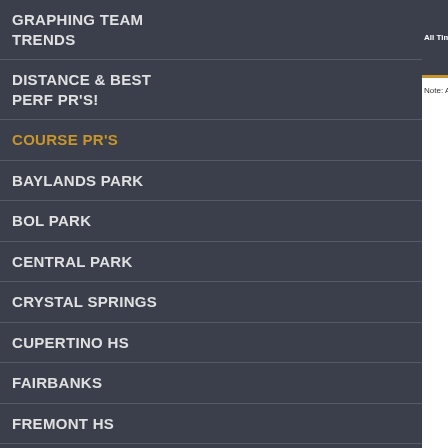GRAPHING TEAM TRENDS
DISTANCE & BEST PERF PR'S!
Course PR's
BAYLANDS PARK
BOL PARK
CENTRAL PARK
CRYSTAL SPRINGS
CUPERTINO HS
FAIRBANKS
FREMONT HS
GOLDEN GATE PARK
HAGGIN OAKS GOLF COURSE
HALF MOON BAY HS
HOMESTEAD HS
LAGOON VALLEY PARK
| All Time Rank | Runner Name | Grad |
| --- | --- | --- |
Note: All columns are sortable by clicking on the colu